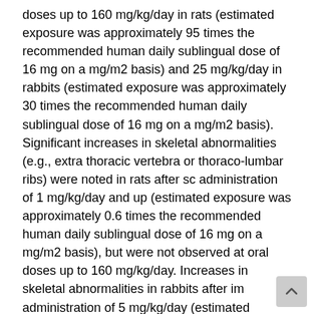doses up to 160 mg/kg/day in rats (estimated exposure was approximately 95 times the recommended human daily sublingual dose of 16 mg on a mg/m2 basis) and 25 mg/kg/day in rabbits (estimated exposure was approximately 30 times the recommended human daily sublingual dose of 16 mg on a mg/m2 basis). Significant increases in skeletal abnormalities (e.g., extra thoracic vertebra or thoraco-lumbar ribs) were noted in rats after sc administration of 1 mg/kg/day and up (estimated exposure was approximately 0.6 times the recommended human daily sublingual dose of 16 mg on a mg/m2 basis), but were not observed at oral doses up to 160 mg/kg/day. Increases in skeletal abnormalities in rabbits after im administration of 5 mg/kg/day (estimated exposure was approximately 6 times the recommended human daily sublingual dose of 16 mg on a mg/m2 basis) or oral administration of 1 mg/kg/day or greater (estimated exposure was approximately equal to the recommended human daily sublingual dose of 16 mg on a mg/m2 basis) were not statistically significant.